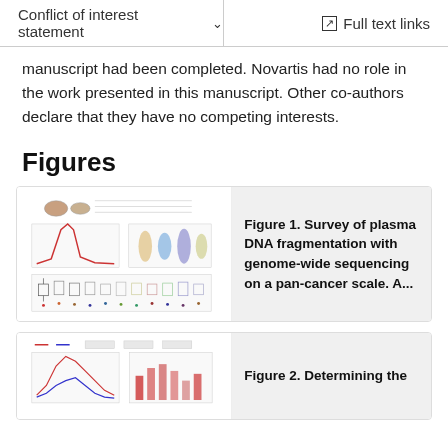Conflict of interest statement  ∨    Full text links
manuscript had been completed. Novartis had no role in the work presented in this manuscript. Other co-authors declare that they have no competing interests.
Figures
[Figure (other): Thumbnail of Figure 1 showing plasma DNA fragmentation survey charts including violin plots, box plots and distribution curves.]
Figure 1. Survey of plasma DNA fragmentation with genome-wide sequencing on a pan-cancer scale. A...
[Figure (other): Thumbnail of Figure 2 showing line graphs and bar charts for determining plasma DNA fragmentation.]
Figure 2. Determining the